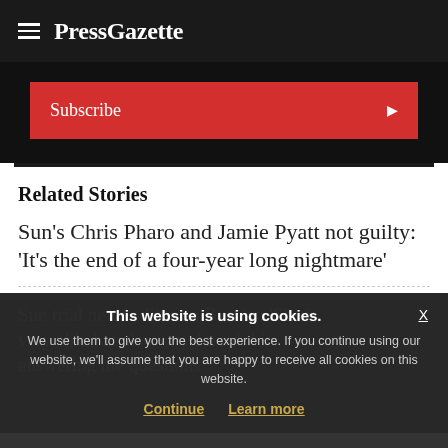PressGazette
Subscribe
Related Stories
Sun's Chris Pharo and Jamie Pyatt not guilty: 'It's the end of a four-year long nightmare'
Sun trial news editor on Brooks: 'She is very able but also very forceful in answering the questions'
This website is using cookies.
We use them to give you the best experience. If you continue using our website, we'll assume that you are happy to receive all cookies on this website.
Continue   Learn more